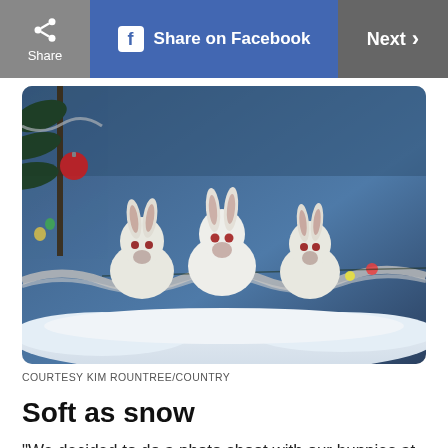Share | Share on Facebook | Next >
[Figure (photo): Three small white bunnies sitting in a Christmas scene with silver tinsel, colorful lights, a red ornament, and a pine tree with silver decorations against a blue background]
COURTESY KIM ROUNTREE/COUNTRY
Soft as snow
“We decided to do a photo shoot with our bunnies at Christmas,” says Kim Rountree. “These are